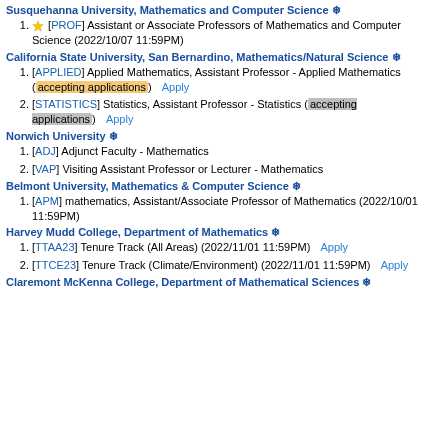Susquehanna University, Mathematics and Computer Science ❄
[PROF] Assistant or Associate Professors of Mathematics and Computer Science (2022/10/07 11:59PM)
California State University, San Bernardino, Mathematics/Natural Science ❄
[APPLIED] Applied Mathematics, Assistant Professor - Applied Mathematics (accepting applications) Apply
[STATISTICS] Statistics, Assistant Professor - Statistics (accepting applications) Apply
Norwich University ❄
[ADJ] Adjunct Faculty - Mathematics
[VAP] Visiting Assistant Professor or Lecturer - Mathematics
Belmont University, Mathematics & Computer Science ❄
[APM] mathematics, Assistant/Associate Professor of Mathematics (2022/10/01 11:59PM)
Harvey Mudd College, Department of Mathematics ❄
[TTAA23] Tenure Track (All Areas) (2022/11/01 11:59PM) Apply
[TTCE23] Tenure Track (Climate/Environment) (2022/11/01 11:59PM) Apply
Claremont McKenna College, Department of Mathematical Sciences ❄